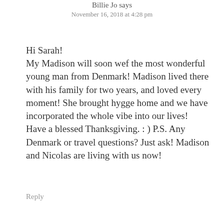Billie Jo says
November 16, 2018 at 4:28 pm
Hi Sarah!
My Madison will soon wef the most wonderful young man from Denmark! Madison lived there with his family for two years, and loved every moment! She brought hygge home and we have incorporated the whole vibe into our lives! Have a blessed Thanksgiving. : ) P.S. Any Denmark or travel questions? Just ask! Madison and Nicolas are living with us now!
Reply